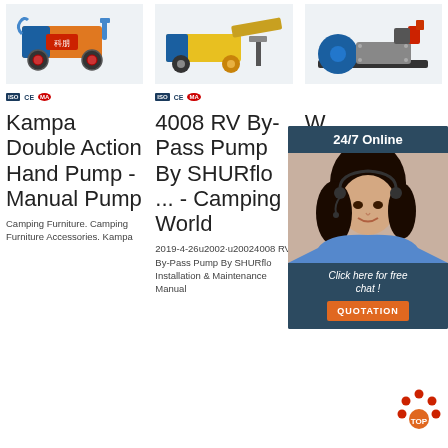[Figure (photo): Orange and blue Kampa double action hand pump machine on wheels]
[Figure (photo): Yellow and blue 4008 RV By-Pass pump machine]
[Figure (photo): Blue and grey water pump machine]
Kampa Double Action Hand Pump - Manual Pump
4008 RV By-Pass Pump By SHURflo ... - Camping World
W Pu Ma Pu Ca Ta Towsure
Camping Furniture. Camping Furniture Accessories. Kampa
2019-4-26u2002·u20024008 RV By-Pass Pump By SHURflo Installation & Maintenance Manual
Tap with pump action - no wiring needed.Fits directly in to the same
[Figure (infographic): 24/7 Online chat agent overlay with quotation button]